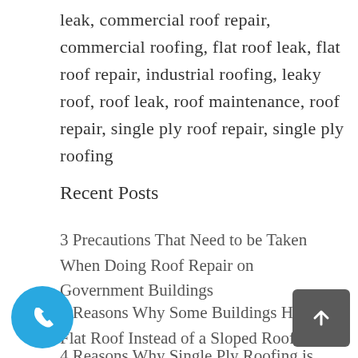leak, commercial roof repair, commercial roofing, flat roof leak, flat roof repair, industrial roofing, leaky roof, roof leak, roof maintenance, roof repair, single ply roof repair, single ply roofing
Recent Posts
3 Precautions That Need to be Taken When Doing Roof Repair on Government Buildings
5 Reasons Why Some Buildings Have Flat Roof Instead of a Sloped Roof
4 Reasons Why Single Ply Roofing is